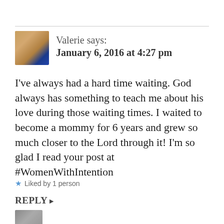[Figure (photo): Profile photo of Valerie, a woman with blonde hair]
Valerie says:
January 6, 2016 at 4:27 pm
I've always had a hard time waiting. God always has something to teach me about his love during those waiting times. I waited to become a mommy for 6 years and grew so much closer to the Lord through it! I'm so glad I read your post at #WomenWithIntention
Liked by 1 person
REPLY